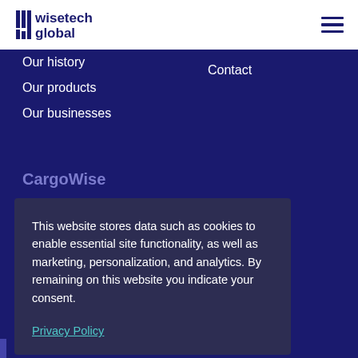[Figure (logo): WiseTech Global logo with bar chart icon and company name]
Our history
Our products
Our businesses
Contact
CargoWise
This website stores data such as cookies to enable essential site functionality, as well as marketing, personalization, and analytics. By remaining on this website you indicate your consent.
Privacy Policy